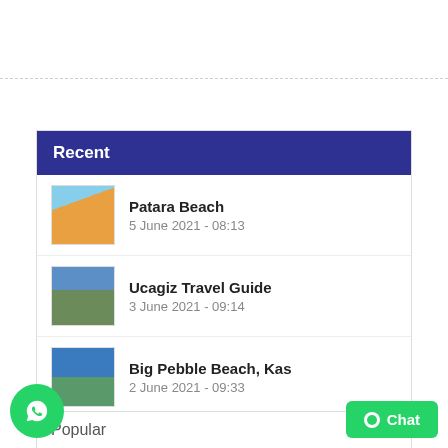Recent
Patara Beach
5 June 2021 - 08:13
Ucagiz Travel Guide
3 June 2021 - 09:14
Big Pebble Beach, Kas
2 June 2021 - 09:33
Castellorizo Travel Guide
2 June 2021 - 09:28
The Ancient City of Letoon
2 June 2021 - 09:22
Popular